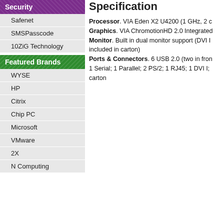Security
Safenet
SMSPasscode
10ZiG Technology
Featured Brands
WYSE
HP
Citrix
Chip PC
Microsoft
VMware
2X
N Computing
Specification
Processor. VIA Eden X2 U4200 (1 GHz, 2 c Graphics. VIA ChromotionHD 2.0 Integrated Monitor. Built in dual monitor support (DVI I included in carton) Ports & Connectors. 6 USB 2.0 (two in fron 1 Serial; 1 Parallel; 2 PS/2; 1 RJ45; 1 DVI I; carton